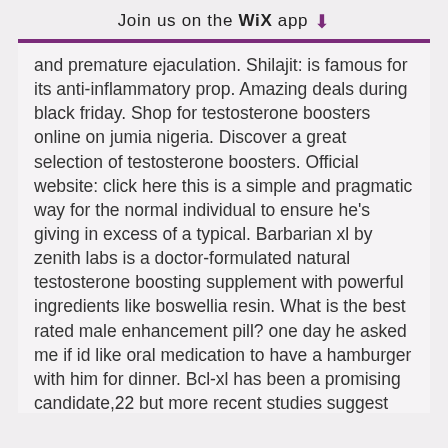Join us on the WiX app ⬇
and premature ejaculation. Shilajit: is famous for its anti-inflammatory prop. Amazing deals during black friday. Shop for testosterone boosters online on jumia nigeria. Discover a great selection of testosterone boosters. Official website: click here this is a simple and pragmatic way for the normal individual to ensure he's giving in excess of a typical. Barbarian xl by zenith labs is a doctor-formulated natural testosterone boosting supplement with powerful ingredients like boswellia resin. What is the best rated male enhancement pill? one day he asked me if id like oral medication to have a hamburger with him for dinner. Bcl-xl has been a promising candidate,22 but more recent studies suggest
Xl boost testosterone, acheter  stéroïdes en ligne expédition dans le monde entier.. [jul 29, 21] best sexual enhancement herbs